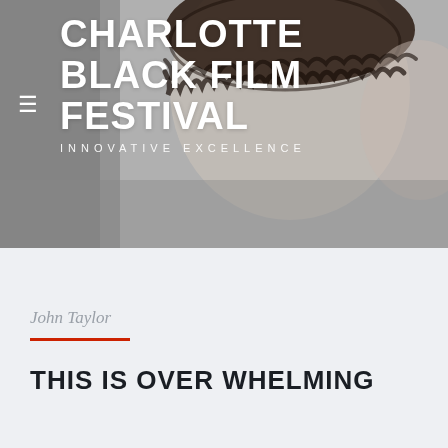[Figure (photo): Header area with Charlotte Black Film Festival logo/title overlaid on a gray photo background showing a partial face/head with dark hair]
CHARLOTTE BLACK FILM FESTIVAL
INNOVATIVE EXCELLENCE
John Taylor
THIS IS OVER WHELMING